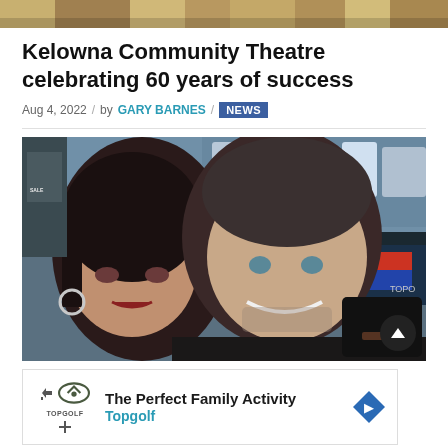[Figure (photo): Top banner strip showing a partial image at the top of the page]
Kelowna Community Theatre celebrating 60 years of success
Aug 4, 2022 / by GARY BARNES / NEWS
[Figure (photo): Photo of a man and woman taking a selfie in what appears to be a store, with Colgate products visible on shelves in the background]
[Figure (infographic): Advertisement banner for Topgolf: 'The Perfect Family Activity - Topgolf' with Topgolf logo and navigation arrow]